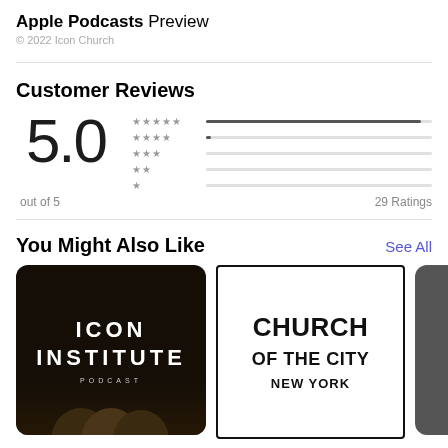Apple Podcasts Preview
© 2022 Icon Church
Customer Reviews
[Figure (infographic): Rating display showing 5.0 out of 5 with star bar chart and 29 Ratings]
You Might Also Like
See All
[Figure (illustration): Icon Institute Podcast dark card]
[Figure (illustration): Church of the City New York white bordered card]
[Figure (photo): Partially visible third podcast card]